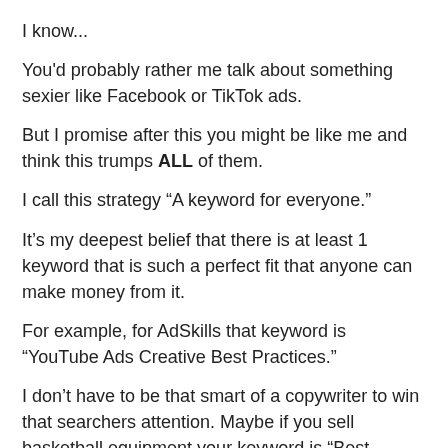I know...
You'd probably rather me talk about something sexier like Facebook or TikTok ads.
But I promise after this you might be like me and think this trumps ALL of them.
I call this strategy “A keyword for everyone.”
It’s my deepest belief that there is at least 1 keyword that is such a perfect fit that anyone can make money from it.
For example, for AdSkills that keyword is “YouTube Ads Creative Best Practices.”
I don’t have to be that smart of a copywriter to win that searchers attention. Maybe if you sell basketball equipment your keyword is “Best Basketball For Children.”